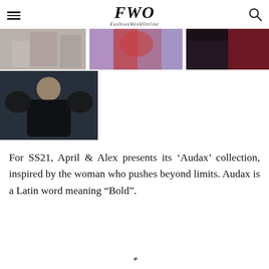FWO FashionWeekOnline
[Figure (photo): Grid of fashion editorial photos showing models in bold outfits including a grey draped look, red puffer jacket, dark glam look, and a large black velvet blazer with dramatic shoulders on a blue background.]
For SS21, April & Alex presents its ‘Audax’ collection, inspired by the woman who pushes beyond limits. Audax is a Latin word meaning “Bold”.